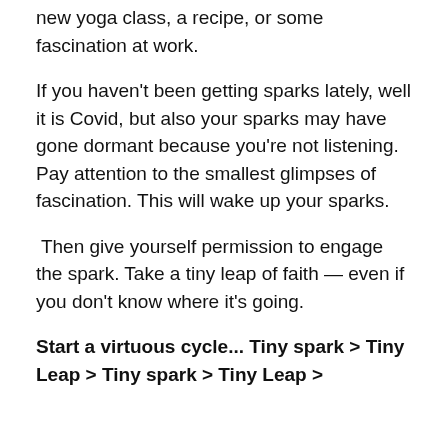new yoga class, a recipe, or some fascination at work.
If you haven't been getting sparks lately, well it is Covid, but also your sparks may have gone dormant because you're not listening. Pay attention to the smallest glimpses of fascination. This will wake up your sparks.
Then give yourself permission to engage the spark. Take a tiny leap of faith — even if you don't know where it's going.
Start a virtuous cycle... Tiny spark > Tiny Leap > Tiny spark > Tiny Leap >